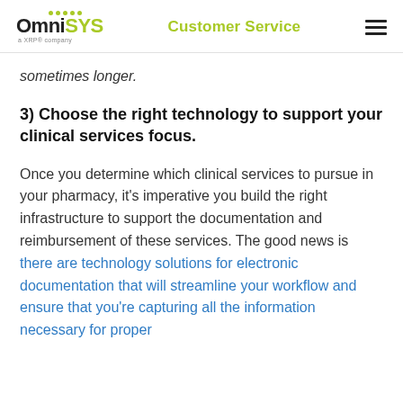OmniSYS | Customer Service
sometimes longer.
3) Choose the right technology to support your clinical services focus.
Once you determine which clinical services to pursue in your pharmacy, it's imperative you build the right infrastructure to support the documentation and reimbursement of these services. The good news is there are technology solutions for electronic documentation that will streamline your workflow and ensure that you're capturing all the information necessary for proper